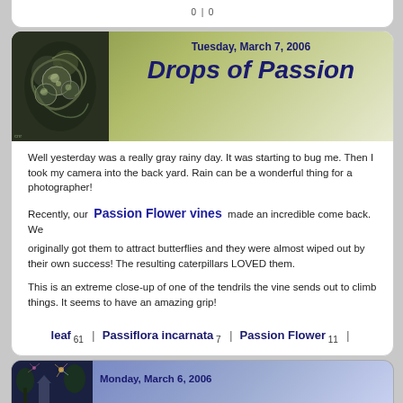[Figure (photo): Cropped top of a previous blog card (partial)]
[Figure (photo): Macro close-up photo of water drops on a passion flower vine tendril, dark green tones]
Tuesday, March 7, 2006
Drops of Passion
Well yesterday was a really gray rainy day. It was starting to bug me. Then I took my camera into the back yard. Rain can be a wonderful thing for a photographer!
Recently, our Passion Flower vines made an incredible come back. We originally got them to attract butterflies and they were almost wiped out by their own success! The resulting caterpillars LOVED them.
This is an extreme close-up of one of the tendrils the vine sends out to climb things. It seems to have an amazing grip!
leaf 61 | Passiflora incarnata 7 | Passion Flower 11 | Photos I Grew Myself 59 | plant 24 | rain 20 | rain drop 5 | tendril 3 | vine 23 | water drop 53
[Figure (photo): Partial bottom card showing Monday March 6 2006 with a blue/purple gradient and a church/fireworks photo thumbnail]